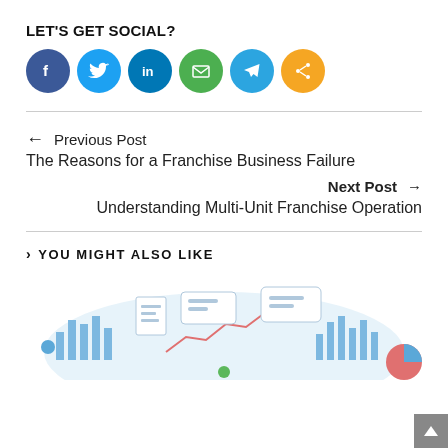LET'S GET SOCIAL?
[Figure (illustration): Six social media sharing icons in circles: Facebook (dark blue), Twitter (light blue), LinkedIn (blue), Email (green), Telegram (sky blue), Share (orange)]
← Previous Post
The Reasons for a Franchise Business Failure
Next Post →
Understanding Multi-Unit Franchise Operation
> YOU MIGHT ALSO LIKE
[Figure (illustration): Business/analytics illustration showing charts, graphs, speech bubbles, and data visualizations in blue and white tones with a light blue oval background]